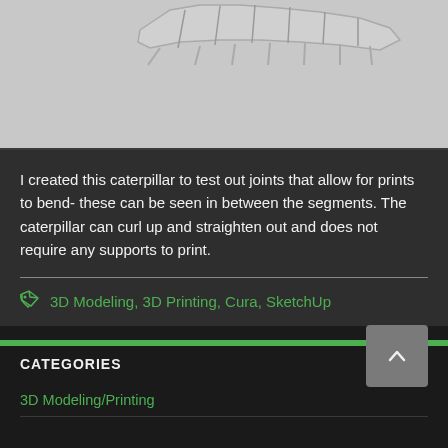[Figure (photo): 3D printed caterpillar model shown from above on a gray background, displaying segmented body with joints between segments]
I created this caterpillar to test out joints that allow for prints to bend- these can be seen in between the segments. The caterpillar can curl up and straighten out and does not require any supports to print.
3D Modeling, 3D Printing, Cura, SketchUp
CATEGORIES
3D Modeling/Printing